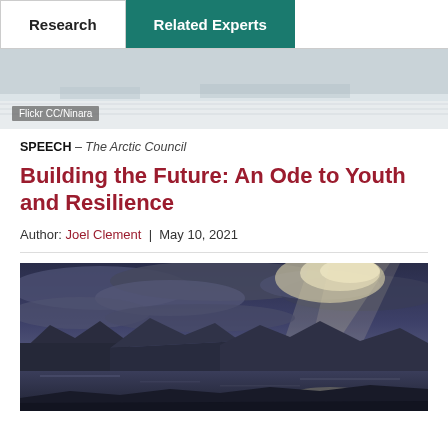Research | Related Experts
[Figure (photo): Aerial or landscape winter/arctic scene, muted grey-blue tones, with photo credit 'Flickr CC/Ninara']
Flickr CC/Ninara
SPEECH – The Arctic Council
Building the Future: An Ode to Youth and Resilience
Author: Joel Clement | May 10, 2021
[Figure (photo): Dramatic landscape photo showing mountains, lake/water reflection, and dramatic cloudy sky with rays of light breaking through clouds in blue-purple tones]